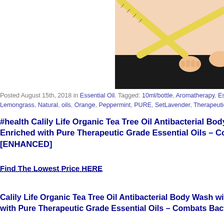[Figure (photo): Person holding a yellow measuring tape around their waist, wearing black pants, cropped image showing torso only]
Posted August 15th, 2018 in Essential Oil. Tagged: 10ml/bottle, Aromatherapy, Esse...Lemongrass, Natural, oils, Orange, Peppermint, PURE, SetLavender, Therapeutic, T...
#health Calily Life Organic Tea Tree Oil Antibacterial Body Wash with... Enriched with Pure Therapeutic Grade Essential Oils – Combats Ba... [ENHANCED]
Find The Lowest Price HERE
Calily Life Organic Tea Tree Oil Antibacterial Body Wash with Dead... with Pure Therapeutic Grade Essential Oils – Combats Bacteria & F...